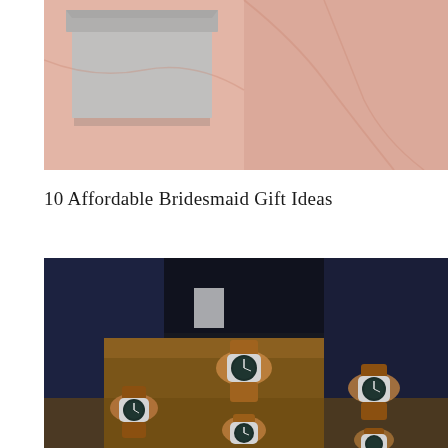[Figure (photo): Top portion of a photo showing a gray gift box on pink/salmon fabric background]
10 Affordable Bridesmaid Gift Ideas
[Figure (photo): Group of groomsmen in dark navy suits showing their matching brown leather strap watches with dark faces, wrists together in a circle huddle]